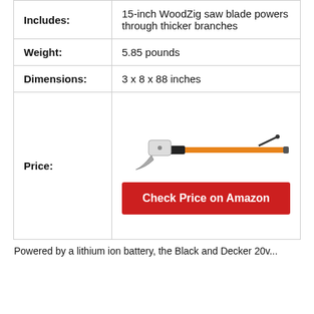| Includes: | 15-inch WoodZig saw blade powers through thicker branches |
| Weight: | 5.85 pounds |
| Dimensions: | 3 x 8 x 88 inches |
| Price: | [product image + Check Price on Amazon button] |
Powered by a lithium ion battery, the Black and Decker 20v...